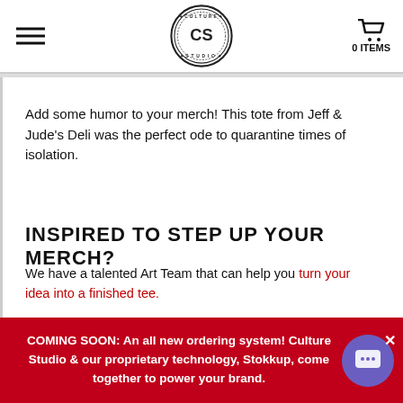Culture Studio — navigation header with hamburger menu, logo, and cart (0 ITEMS)
Add some humor to your merch! This tote from Jeff & Jude's Deli was the perfect ode to quarantine times of isolation.
INSPIRED TO STEP UP YOUR MERCH?
We have a talented Art Team that can help you turn your idea into a finished tee.
Or run a Timed Campaign to sell limited edition merch and build up the hype!
COMING SOON: An all new ordering system! Culture Studio & our proprietary technology, Stokkup, come together to power your brand.